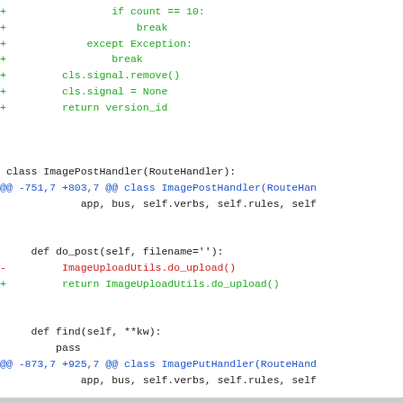diff code snippet showing git diff output with added/removed lines in a Python source file